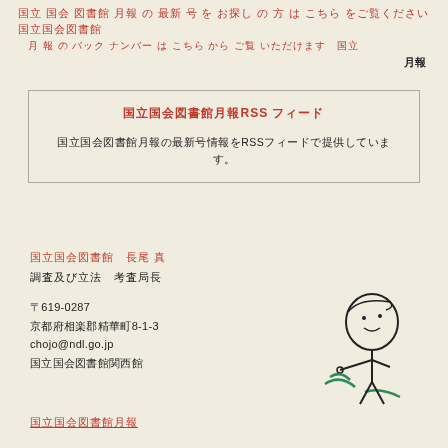国立国会図書館 月報 の 最新 号 を お探し の 方 は こちら をご覧ください 国立国会図書館 月報 バック ナンバー は こちら から ご覧 いただけ ます 国立
月報
国立国会図書館月報RSSフィード
国立国会図書館月報の最新号情報をRSSフィードで提供しています。
国立国会図書館　長尾 真
調査及び立法　考査局長
〒619-0287
京都府相楽郡精華町8-1-3
chojo@ndl.go.jp
国立国会図書館関西館
[Figure (illustration): NDL mascot character - a simple line-drawn figure with a round head, holding a green ribbon or string]
国立国会図書館月報